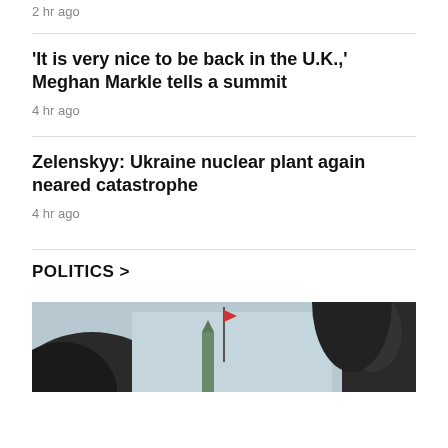2 hr ago
'It is very nice to be back in the U.K.,' Meghan Markle tells a summit
4 hr ago
Zelenskyy: Ukraine nuclear plant again neared catastrophe
4 hr ago
POLITICS >
[Figure (photo): Outdoor scene with a flag visible in the background between dark structural elements, overcast sky]